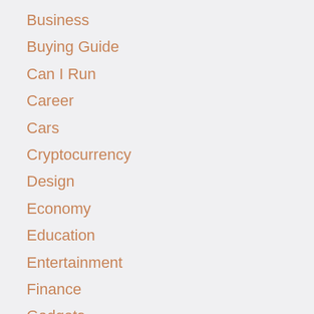Business
Buying Guide
Can I Run
Career
Cars
Cryptocurrency
Design
Economy
Education
Entertainment
Finance
Gadgets
Galaxy S20